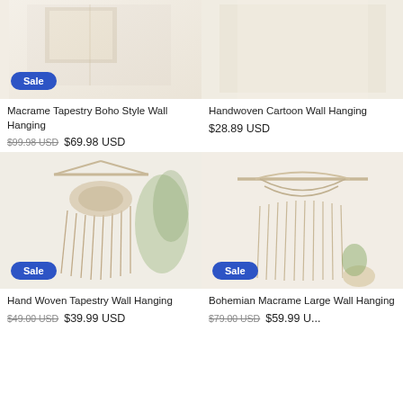[Figure (photo): Macrame Tapestry Boho Style Wall Hanging product photo with Sale badge]
Macrame Tapestry Boho Style Wall Hanging
$99.98 USD  $69.98 USD
[Figure (photo): Handwoven Cartoon Wall Hanging product photo]
Handwoven Cartoon Wall Hanging
$28.89 USD
[Figure (photo): Hand Woven Tapestry Wall Hanging product photo with Sale badge]
Hand Woven Tapestry Wall Hanging
$49.00 USD  $39.99 USD
[Figure (photo): Bohemian Macrame Large Wall Hanging product photo with Sale badge]
Bohemian Macrame Large Wall Hanging
$79.00 USD  $59.99 USD